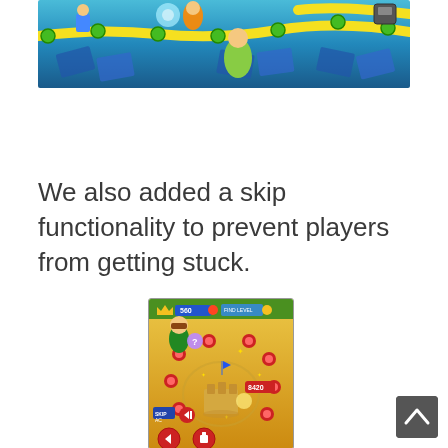[Figure (screenshot): Mobile game board screenshot showing a colorful game map with a yellow winding path, game characters, and various game nodes on a teal/blue background.]
We also added a skip functionality to prevent players from getting stuck.
[Figure (screenshot): Mobile game screenshot showing a sandy game level map with a character, red flower nodes, a sand castle, and navigation buttons including a skip button at the bottom left.]